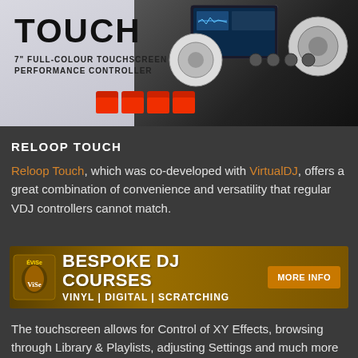[Figure (photo): Reloop Touch DJ controller product banner image. Large text 'TOUCH' with subtitle '7" FULL-COLOUR TOUCHSCREEN PERFORMANCE CONTROLLER'. DJ controller hardware visible on dark background.]
RELOOP TOUCH
Reloop Touch, which was co-developed with VirtualDJ, offers a great combination of convenience and versatility that regular VDJ controllers cannot match.
[Figure (infographic): Bespoke DJ Courses advertisement banner with logo on left, text 'BESPOKE DJ COURSES' and 'VINYL | DIGITAL | SCRATCHING', and 'MORE INFO' button on right. Gold/brown background.]
The touchscreen allows for Control of XY Effects, browsing through Library & Playlists, adjusting Settings and much more